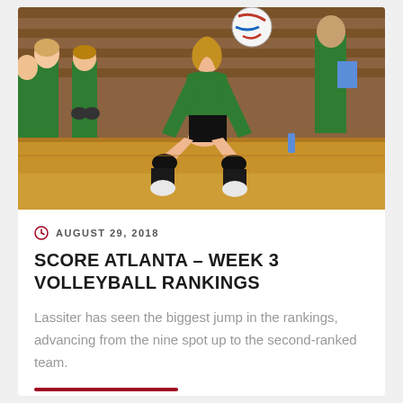[Figure (photo): A female volleyball player in a green uniform crouching in a dig position on a gymnasium court, with teammates and coaches visible on the bench in green uniforms in the background.]
AUGUST 29, 2018
SCORE ATLANTA – WEEK 3 VOLLEYBALL RANKINGS
Lassiter has seen the biggest jump in the rankings, advancing from the nine spot up to the second-ranked team.